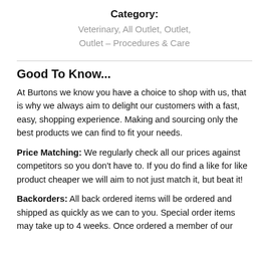Category: Veterinary, All Outlet, Outlet, Outlet - Procedures & Care
Good To Know...
At Burtons we know you have a choice to shop with us, that is why we always aim to delight our customers with a fast, easy, shopping experience. Making and sourcing only the best products we can find to fit your needs.
Price Matching: We regularly check all our prices against competitors so you don't have to. If you do find a like for like product cheaper we will aim to not just match it, but beat it!
Backorders: All back ordered items will be ordered and shipped as quickly as we can to you. Special order items may take up to 4 weeks. Once ordered a member of our